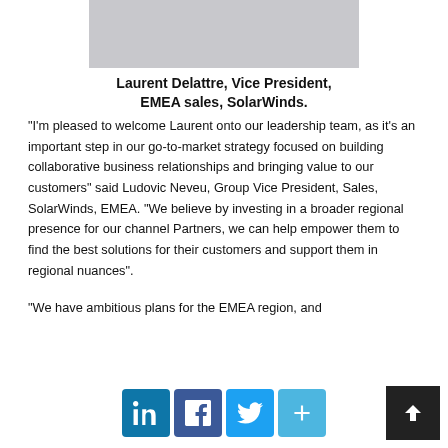[Figure (photo): Photo of Laurent Delattre, cropped at top showing person in dark jacket]
Laurent Delattre, Vice President, EMEA sales, SolarWinds.
“I’m pleased to welcome Laurent onto our leadership team, as it’s an important step in our go-to-market strategy focused on building collaborative business relationships and bringing value to our customers” said Ludovic Neveu, Group Vice President, Sales, SolarWinds, EMEA. “We believe by investing in a broader regional presence for our channel Partners, we can help empower them to find the best solutions for their customers and support them in regional nuances”.
“We have ambitious plans for the EMEA region, and
[Figure (other): Social media share buttons: LinkedIn, Facebook, Twitter, and a plus/share button]